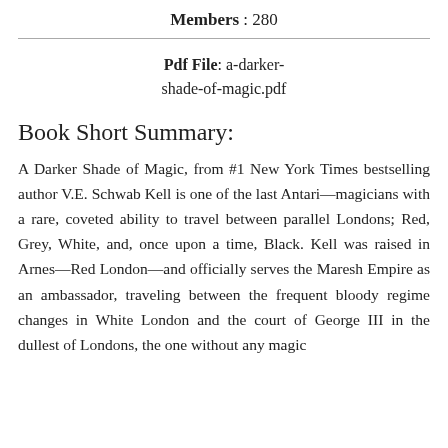Members : 280
Pdf File: a-darker-shade-of-magic.pdf
Book Short Summary:
A Darker Shade of Magic, from #1 New York Times bestselling author V.E. Schwab Kell is one of the last Antari—magicians with a rare, coveted ability to travel between parallel Londons; Red, Grey, White, and, once upon a time, Black. Kell was raised in Arnes—Red London—and officially serves the Maresh Empire as an ambassador, traveling between the frequent bloody regime changes in White London and the court of George III in the dullest of Londons, the one without any magic